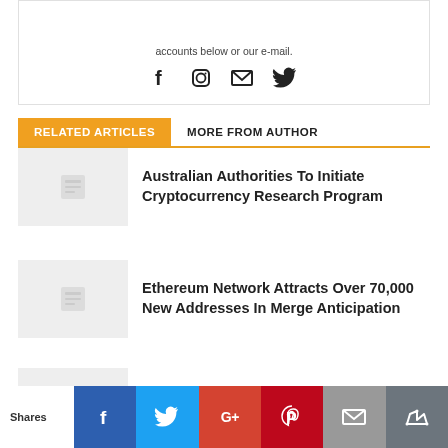accounts below or our e-mail.
[Figure (other): Social media icons: Facebook, Instagram, Email, Twitter]
RELATED ARTICLES   MORE FROM AUTHOR
Australian Authorities To Initiate Cryptocurrency Research Program
Ethereum Network Attracts Over 70,000 New Addresses In Merge Anticipation
Crypto Trust Rating High Despite Bear Market Negativity, Study
Shares | Facebook | Twitter | Google+ | Pinterest | Email | Crown